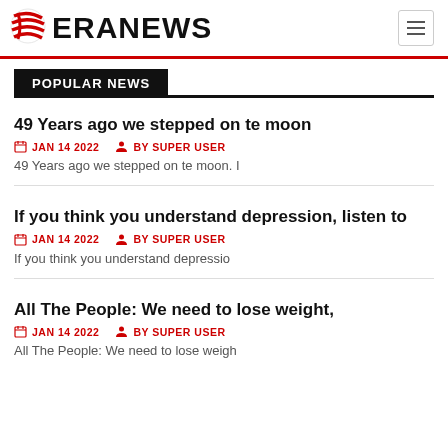ERANEWS
POPULAR NEWS
49 Years ago we stepped on te moon
JAN 14 2022  BY SUPER USER
49 Years ago we stepped on te moon. I
If you think you understand depression, listen to
JAN 14 2022  BY SUPER USER
If you think you understand depressio
All The People: We need to lose weight,
JAN 14 2022  BY SUPER USER
All The People: We need to lose weigh